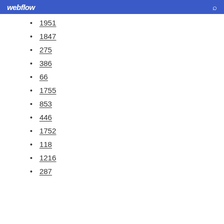webflow
1951
1847
275
386
66
1755
853
446
1752
118
1216
287